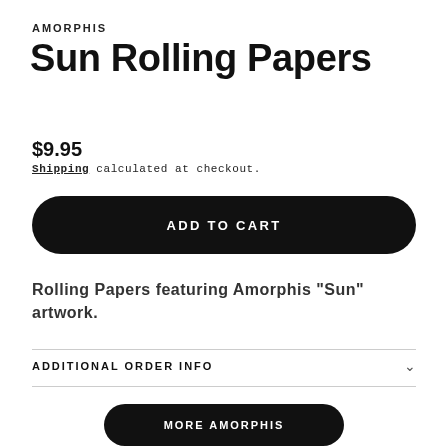AMORPHIS
Sun Rolling Papers
$9.95
Shipping calculated at checkout.
ADD TO CART
Rolling Papers featuring Amorphis "Sun" artwork.
ADDITIONAL ORDER INFO
MORE AMORPHIS